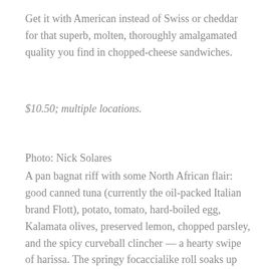Get it with American instead of Swiss or cheddar for that superb, molten, thoroughly amalgamated quality you find in chopped-cheese sandwiches.
$10.50; multiple locations.
Photo: Nick Solares
A pan bagnat riff with some North African flair: good canned tuna (currently the oil-packed Italian brand Flott), potato, tomato, hard-boiled egg, Kalamata olives, preserved lemon, chopped parsley, and the spicy curveball clincher — a hearty swipe of harissa. The springy focaccialike roll soaks up the juices and holds it all together.
$11.95; $13.95; 350 Hom...